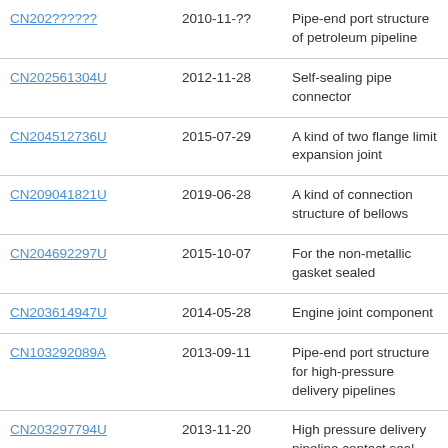| Patent ID | Date | Description |
| --- | --- | --- |
| CN202???U (partial) | 2010-11-?? | Pipe-end port structure of petroleum pipeline |
| CN202561304U | 2012-11-28 | Self-sealing pipe connector |
| CN204512736U | 2015-07-29 | A kind of two flange limit expansion joint |
| CN209041821U | 2019-06-28 | A kind of connection structure of bellows |
| CN204692297U | 2015-10-07 | For the non-metallic gasket sealed |
| CN203614947U | 2014-05-28 | Engine joint component |
| CN103292089A | 2013-09-11 | Pipe-end port structure for high-pressure delivery pipelines |
| CN203297794U | 2013-11-20 | High pressure delivery pipeline contact seal connector structure |
| CN205824421U | 2016-12-21 | The adpting flange of sodium sulfide liquid conducting pipes (partial) |